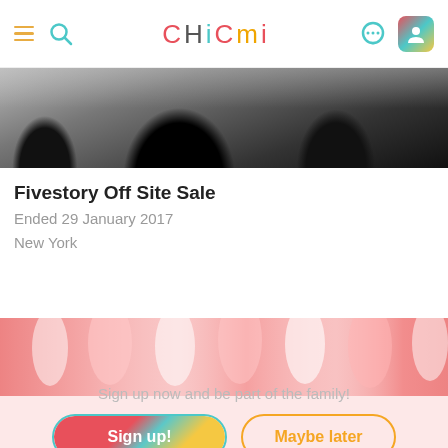CHICMI app header with hamburger menu, search icon, logo, chat icon, and profile icon
[Figure (photo): Black and white hero image showing silhouettes of people at what appears to be a fashion event]
Fivestory Off Site Sale
Ended 29 January 2017
New York
[Figure (photo): Pink background image showing white and pink decorative tassels or fabric]
Sign up now and be part of the family!
Sign up!
Maybe later